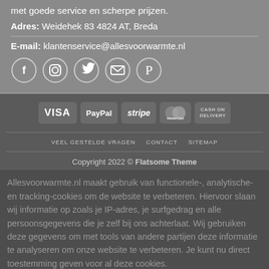met goede service en scherpe prijzen.
Adres: Weidehek 83 4824 AT, Breda
E-mail: klantenservice@allesvoorwarmte.nl
[Figure (infographic): Row of 5 social media icons in circles: Facebook, Instagram, Twitter, Email, Pinterest]
[Figure (infographic): Payment method badges: VISA, PayPal, stripe, MasterCard, CASH ON DELIVERY]
VEEL GESTELDE VRAGEN   CONTACT   SITEMAP
Copyright 2022 © Flatsome Theme
Allesvoorwarmte.nl maakt gebruik van functionele-, analytische- en tracking-cookies om de website te verbeteren. Hiervoor slaan wij informatie op zoals je IP-adres, je surfgedrag en alle persoonsgegevens die je zelf bij ons achterlaat. Wij gebruiken deze gegevens om met tools van andere partijen deze informatie te analyseren om onze website te verbeteren. Je kunt nu direct toestemming geven voor al deze cookies.